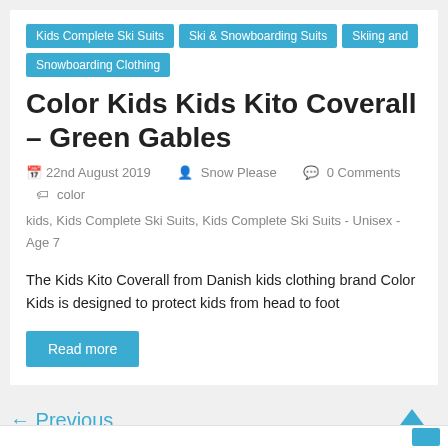Kids Complete Ski Suits | Ski & Snowboarding Suits | Skiing and Snowboarding Clothing
Color Kids Kids Kito Coverall – Green Gables
22nd August 2019  Snow Please  0 Comments  color kids, Kids Complete Ski Suits, Kids Complete Ski Suits - Unisex - Age 7
The Kids Kito Coverall from Danish kids clothing brand Color Kids is designed to protect kids from head to foot
Read more
← Previous